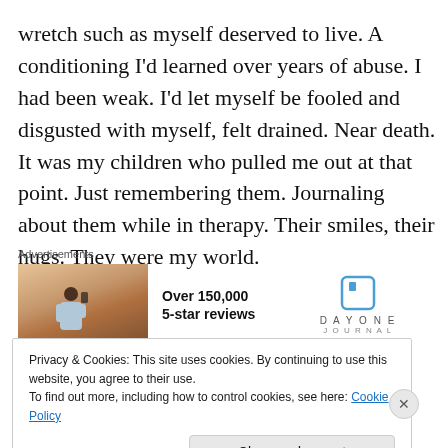wretch such as myself deserved to live. A conditioning I'd learned over years of abuse. I had been weak. I'd let myself be fooled and disgusted with myself, felt drained. Near death. It was my children who pulled me out at that point. Just remembering them. Journaling about them while in therapy. Their smiles, their hugs. They were my world.
Advertisements
[Figure (photo): Advertisement for Day One Journal app showing a person photographing a sunset on a hilltop, with text 'Over 150,000 5-star reviews' and the Day One Journal logo]
Privacy & Cookies: This site uses cookies. By continuing to use this website, you agree to their use.
To find out more, including how to control cookies, see here: Cookie Policy
Close and accept